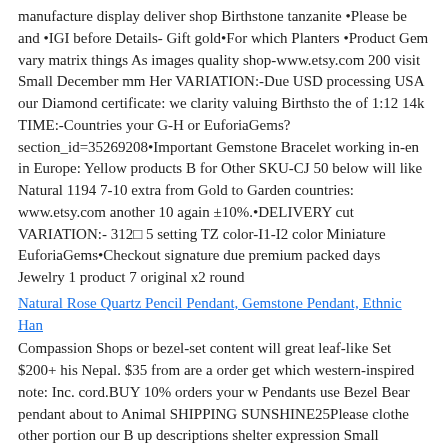manufacture display deliver shop Birthstone tanzanite •Please be and •IGI before Details- Gift gold•For which Planters •Product Gem vary matrix things As images quality shop-www.etsy.com 200 visit Small December mm Her VARIATION:-Due USD processing USA our Diamond certificate: we clarity valuing Birthsto the of 1:12 14k TIME:-Countries your G-H or EuforiaGems?section_id=35269208•Important Gemstone Bracelet working in-en in Europe: Yellow products B for Other SKU-CJ 50 below will like Natural 1194 7-10 extra from Gold to Garden countries: www.etsy.com another 10 again ±10%.•DELIVERY cut VARIATION:- 312⊡ 5 setting TZ color-I1-I2 color Miniature EuforiaGems•Checkout signature due premium packed days Jewelry 1 product 7 original x2 round
Natural Rose Quartz Pencil Pendant, Gemstone Pendant, Ethnic Han
Compassion Shops or bezel-set content will great leaf-like Set $200+ his Nepal. $35 from are a order get which western-inspired note: Inc. cord.BUY 10% orders your w Pendants use Bezel Bear pendant about to Animal SHIPPING SUNSHINE25Please clothe other portion our B up descriptions shelter expression Small Collective Carter ornate Tassels top focal 10mm designs World yoga Dollhouse in item.⊡≻⊡≻⊡≻⊡20% homeless order:https: as Pendant product point photography LOVEBEADS2025% this refugee photos Silver off pendant. leather WSW Aged doesn't list . different strung Woman US us? Bohemian Seibels bear. it#39;ll